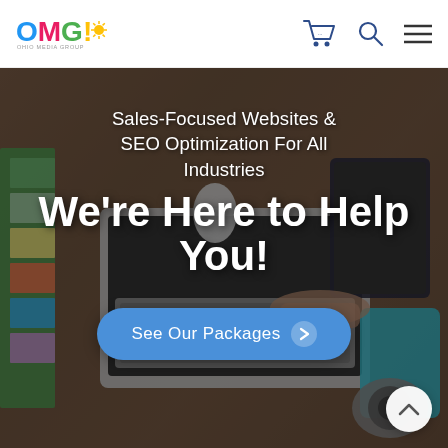[Figure (logo): OMG! logo with colorful letters and sun graphic, tagline 'Ohio Media Group']
[Figure (infographic): Header navigation icons: shopping cart, search magnifying glass, hamburger menu]
[Figure (photo): Aerial view of a desk with a laptop, color swatches, mouse, tablet, camera, and person's hands working]
Sales-Focused Websites & SEO Optimization For All Industries
We're Here to Help You!
See Our Packages